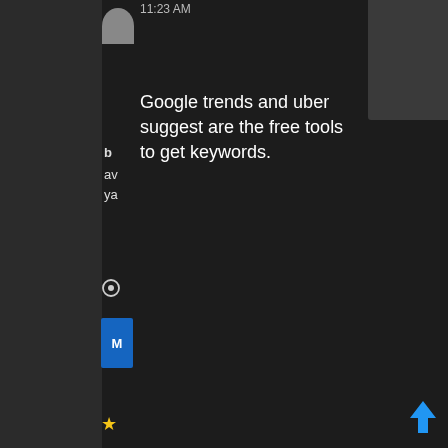11:23 AM
Google trends and uber suggest are the free tools to get keywords.
sales tracking software
Reply
Joined: Jun 2021 Post
[Figure (screenshot): Dark themed forum/chat interface with user sidebar and message content area]